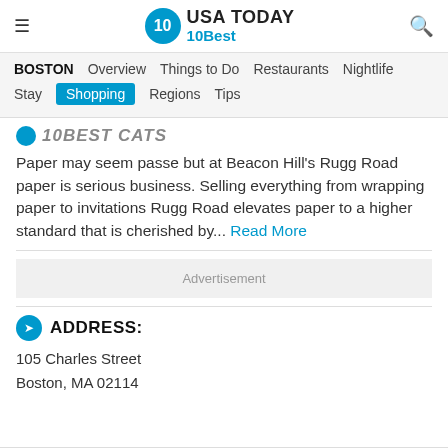USA TODAY 10Best
BOSTON | Overview | Things to Do | Restaurants | Nightlife | Stay | Shopping | Regions | Tips
10BEST CATS
Paper may seem passe but at Beacon Hill's Rugg Road paper is serious business. Selling everything from wrapping paper to invitations Rugg Road elevates paper to a higher standard that is cherished by...
Read More
Advertisement
ADDRESS:
105 Charles Street
Boston, MA 02114